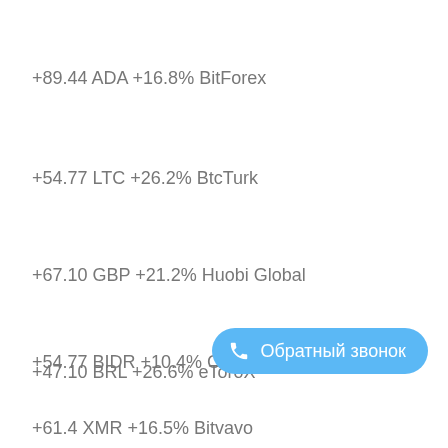+89.44 ADA +16.8% BitForex
+54.77 LTC +26.2% BtcTurk
+67.10 GBP +21.2% Huobi Global
+47.10 BRL +26.6% eToroX
+54.77 BIDR +10.4% Coinbase Pro
+61.4 XMR +16.5% Bitvavo